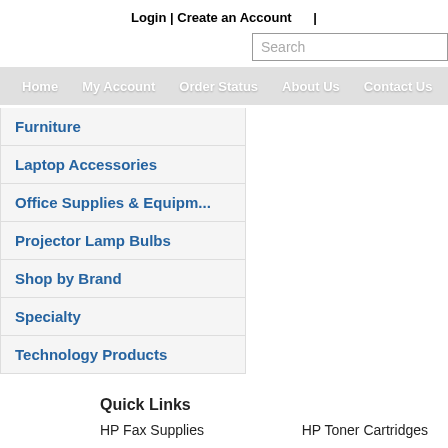Login | Create an Account
Search
Home  My Account  Order Status  About Us  Contact Us
Furniture
Laptop Accessories
Office Supplies & Equipm...
Projector Lamp Bulbs
Shop by Brand
Specialty
Technology Products
Quick Links
HP Fax Supplies
HP Toner Cartridges